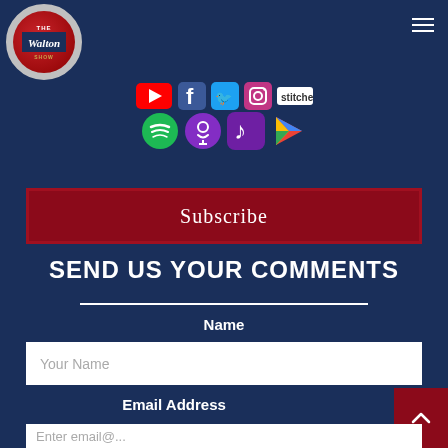[Figure (logo): The Bill Walton Show circular logo with red background and navy banner]
[Figure (infographic): Social media platform icons: YouTube, Facebook, Twitter, Instagram, Spotify, Apple Podcasts, Apple Music, Google Play]
Subscribe
SEND US YOUR COMMENTS
Name
Your Name
Email Address